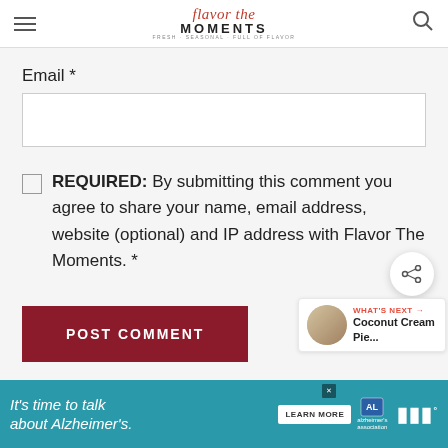Flavor the Moments — FRESH, SEASONAL, FULL OF FLAVOR
Email *
REQUIRED: By submitting this comment you agree to share your name, email address, website (optional) and IP address with Flavor The Moments. *
POST COMMENT
[Figure (screenshot): What's Next promotional widget showing Coconut Cream Pie with circular thumbnail]
[Figure (screenshot): Advertisement banner: It's time to talk about Alzheimer's. Learn More button. Alzheimer's Association logo.]